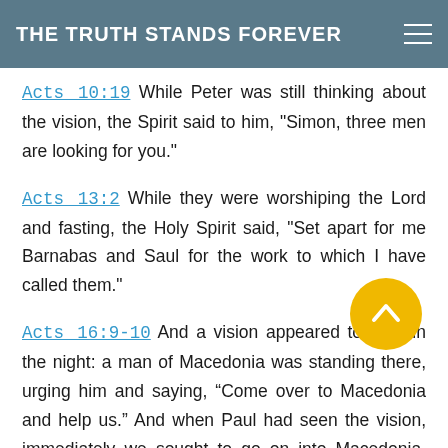THE TRUTH STANDS FOREVER
Acts 10:19 While Peter was still thinking about the vision, the Spirit said to him, "Simon, three men are looking for you."
Acts 13:2 While they were worshiping the Lord and fasting, the Holy Spirit said, "Set apart for me Barnabas and Saul for the work to which I have called them."
Acts 16:9-10 And a vision appeared to Paul in the night: a man of Macedonia was standing there, urging him and saying, “Come over to Macedonia and help us.” And when Paul had seen the vision, immediately we sought to go on into Macedonia, concluding that God had called us to preach the gospel to them.